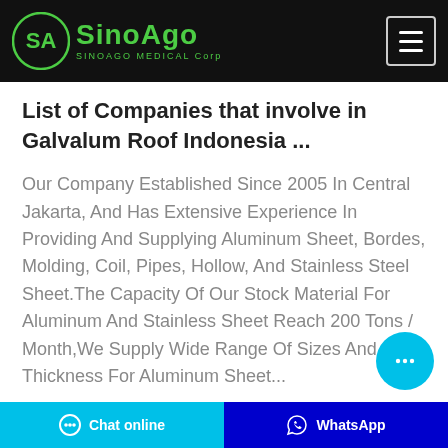SinoAgo SINOAGO MEDICAL Corp
List of Companies that involve in Galvalum Roof Indonesia ...
Our Company Established Since 2005 In Central Jakarta, And Has Extensive Experience In Providing And Supplying Aluminum Sheet, Bordes, Molding, Coil, Pipes, Hollow, And Stainless Steel Sheet.The Capacity Of Our Stock Material For Aluminum And Stainless Sheet Reach 200 Tons / Month,We Supply Wide Range Of Sizes And Thickness For Aluminum Sheet...
Chat online | WhatsApp